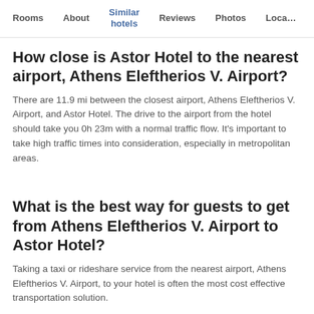Rooms  About  Similar hotels  Reviews  Photos  Loca…
How close is Astor Hotel to the nearest airport, Athens Eleftherios V. Airport?
There are 11.9 mi between the closest airport, Athens Eleftherios V. Airport, and Astor Hotel. The drive to the airport from the hotel should take you 0h 23m with a normal traffic flow. It's important to take high traffic times into consideration, especially in metropolitan areas.
What is the best way for guests to get from Athens Eleftherios V. Airport to Astor Hotel?
Taking a taxi or rideshare service from the nearest airport, Athens Eleftherios V. Airport, to your hotel is often the most cost effective transportation solution.
How close is Astor Hotel from the Athens city